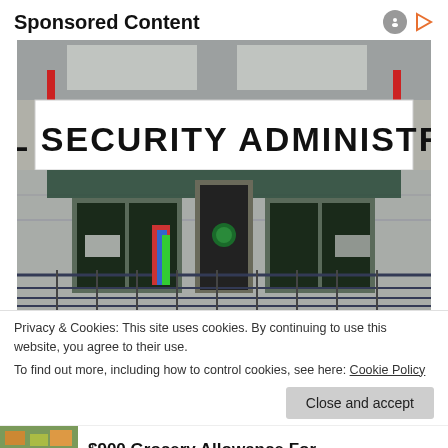Sponsored Content
[Figure (photo): Photograph of a Social Security Administration office building exterior, showing the large sign reading 'SOCIAL SECURITY ADMINISTRATION', glass entrance doors, metal railings, and concrete facade.]
Privacy & Cookies: This site uses cookies. By continuing to use this website, you agree to their use.
To find out more, including how to control cookies, see here: Cookie Policy
Close and accept
$900 Grocery Allowance For